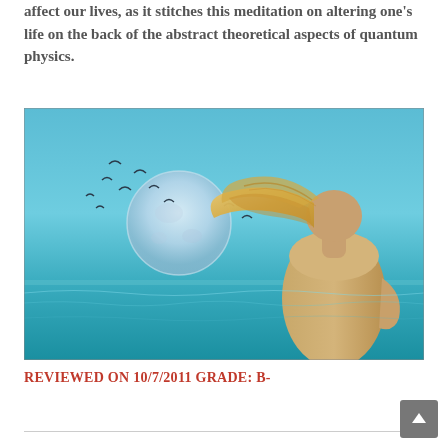affect our lives, as it stitches this meditation on altering one's life on the back of the abstract theoretical aspects of quantum physics.
[Figure (photo): A woman with long blonde hair seen from behind, standing by the ocean looking at a large moon in a clear blue sky with birds flying around it.]
REVIEWED ON 10/7/2011 GRADE: B-